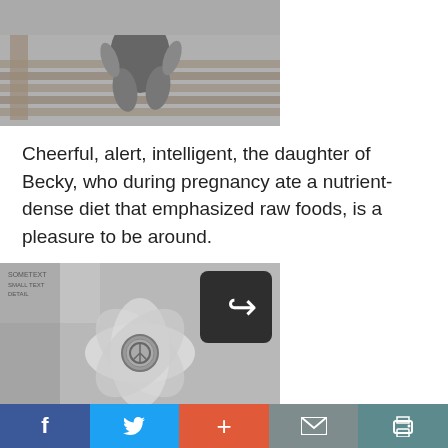[Figure (photo): Black and white photo of a young child in overalls sitting on a wooden deck or bench, viewed from above]
Cheerful, alert, intelligent, the daughter of Becky, who during pregnancy ate a nutrient-dense diet that emphasized raw foods, is a pleasure to be around.
[Figure (photo): Black and white close-up photo of a decorative fabric flower with a circular peace sign button center, with a share icon overlay in the upper right]
Facebook | Twitter | + | Email | Print